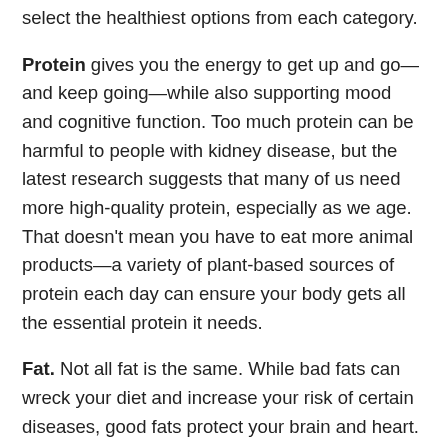select the healthiest options from each category.
Protein gives you the energy to get up and go—and keep going—while also supporting mood and cognitive function. Too much protein can be harmful to people with kidney disease, but the latest research suggests that many of us need more high-quality protein, especially as we age. That doesn't mean you have to eat more animal products—a variety of plant-based sources of protein each day can ensure your body gets all the essential protein it needs.
Fat. Not all fat is the same. While bad fats can wreck your diet and increase your risk of certain diseases, good fats protect your brain and heart. In fact, healthy fats—such as omega-3s—are vital to your physical and emotional health. Including more healthy fat in your diet can help improve your mood, boost your well-being, and even trim your waistline.